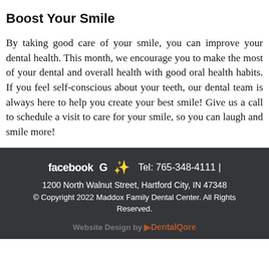Boost Your Smile
By taking good care of your smile, you can improve your dental health. This month, we encourage you to make the most of your dental and overall health with good oral health habits. If you feel self-conscious about your teeth, our dental team is always here to help you create your best smile! Give us a call to schedule a visit to care for your smile, so you can laugh and smile more!
facebook G ☆ Tel: 765-348-4111 | 1200 North Walnut Street, Hartford City, IN 47348 © Copyright 2022 Maddox Family Dental Center. All Rights Reserved. Website Design by DentalQore